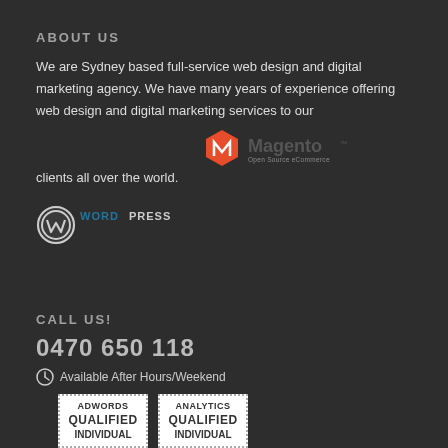ABOUT US
We are Sydney based full-service web design and digital marketing agency. We have many years of experience offering web design and digital marketing services to our clients all over the world.
[Figure (logo): Magento Open Source eCommerce logo - red hexagon icon with white M and Magento text]
[Figure (logo): WordPress logo - circular W icon with WordPress text in blue and black]
CALL US!
0470 650 118
Available After Hours/Weekend
[Figure (logo): AdWords Qualified Individual badge - white box with dotted border]
[Figure (logo): Analytics Qualified Individual badge - white box with dotted border]